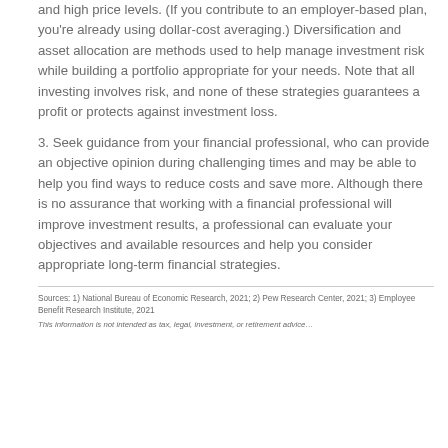and high price levels. (If you contribute to an employer-based plan, you're already using dollar-cost averaging.) Diversification and asset allocation are methods used to help manage investment risk while building a portfolio appropriate for your needs. Note that all investing involves risk, and none of these strategies guarantees a profit or protects against investment loss.
3. Seek guidance from your financial professional, who can provide an objective opinion during challenging times and may be able to help you find ways to reduce costs and save more. Although there is no assurance that working with a financial professional will improve investment results, a professional can evaluate your objectives and available resources and help you consider appropriate long-term financial strategies.
Sources: 1) National Bureau of Economic Research, 2021; 2) Pew Research Center, 2021; 3) Employee Benefit Research Institute, 2021
This information is not intended as tax, legal, investment, or retirement advice…